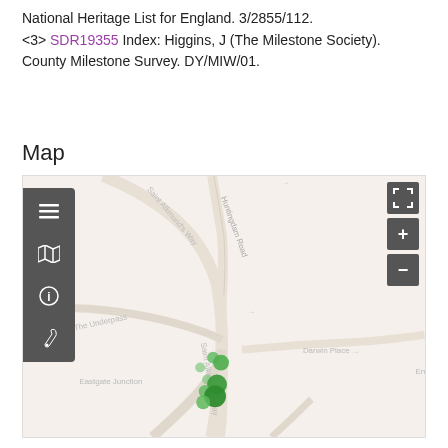National Heritage List for England. 3/2855/112. <3> SDR19355 Index: Higgins, J (The Milestone Society). County Milestone Survey. DY/MIW/01.
Map
[Figure (map): Interactive map showing Saint Alkmund's Way, Huntingdam Road, The Underpass, Saint Alkmund's Way, Eastgate Junction, and Darwin Place. Several green circle markers are clustered near Eastgate Junction along Saint Alkmund's Way. Map controls include a layer menu, map view toggle, info, and wrench tool on the left; expand, zoom in, and zoom out buttons on the right.]